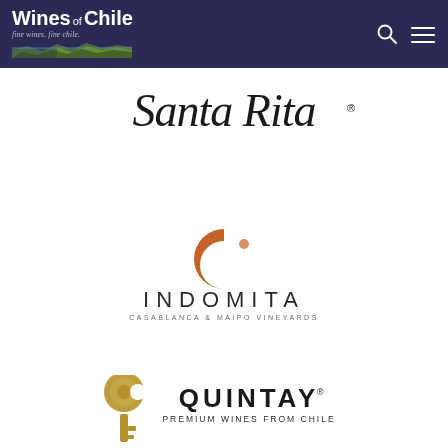[Figure (logo): Wines of Chile website header with dark navy/indigo background. Contains the Wines of Chile logo (bold white text 'Wines of Chile' with mountain landscape illustration), plus search icon and hamburger menu icon on the right.]
[Figure (logo): Santa Rita winery logo in cursive/script black text on white background]
[Figure (logo): Indomita winery logo with a brown crescent C-shaped icon above the text 'INDOMITA' in spaced capital letters, with 'CASABLANCA & MAIPO VINEYARDS' in small caps beneath]
[Figure (logo): Quintay Premium Wines from Chile logo featuring a decorative gold/bronze stylized key or paddlelike ornamental emblem on the left, and 'QUINTAY' in large capitals with 'PREMIUM WINES FROM CHILE' in smaller capitals below]